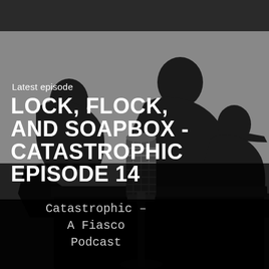[Figure (photo): Black and white podcast cover art showing silhouettes of three people around a vintage microphone on a table against a gray background]
Latest episode
LOCK, FLOCK, AND SOAPBOX - CATASTROPHIC EPISODE 14
Catastrophic - A Fiasco Podcast